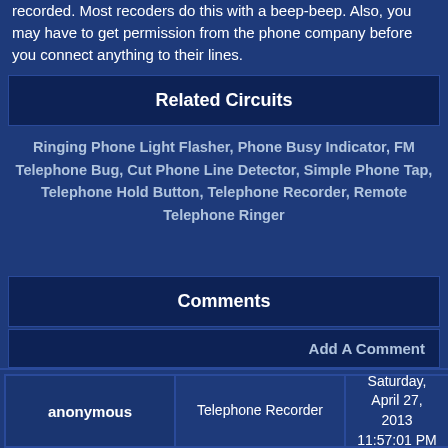recorded. Most recoders do this with a beep-beep. Also, you may have to get permission from the phone company before you connect anything to their lines.
Related Circuits
Ringing Phone Light Flasher, Phone Busy Indicator, FM Telephone Bug, Cut Phone Line Detector, Simple Phone Tap, Telephone Hold Button, Telephone Recorder, Remote Telephone Ringer
Comments
Add A Comment
| anonymous | Telephone Recorder | Saturday, April 27, 2013 11:57:01 PM |
| --- | --- | --- |